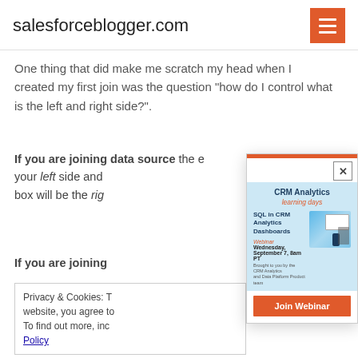salesforceblogger.com
One thing that did make me scratch my head when I created my first join was the question "how do I control what is the left and right side?".
If you are joining data source the ex... your left side and ... box will be the rig...
If you are joining ...
Privacy & Cookies: T... website, you agree to... To find out more, inc... Policy
[Figure (screenshot): Modal popup advertisement for CRM Analytics learning days webinar: 'SQL in CRM Analytics Dashboards', Wednesday, September 7, 8am PT, with Join Webinar button]